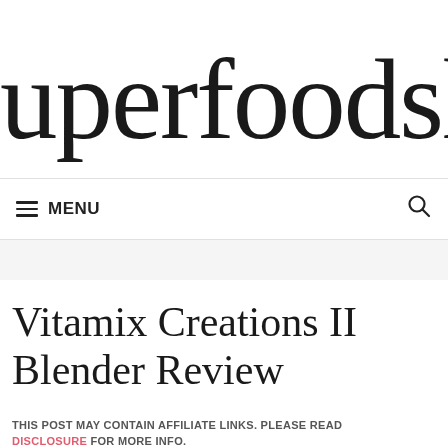superfoodsliving.co
MENU
Vitamix Creations II Blender Review
THIS POST MAY CONTAIN AFFILIATE LINKS. PLEASE READ DISCLOSURE FOR MORE INFO.